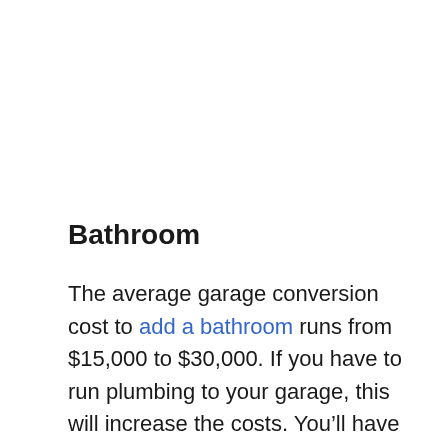Bathroom
The average garage conversion cost to add a bathroom runs from $15,000 to $30,000. If you have to run plumbing to your garage, this will increase the costs. You’ll have to add an HVAC system and insulation to the garage. It can be extremely expensive to drill through the concrete to put a waste drain in, and you